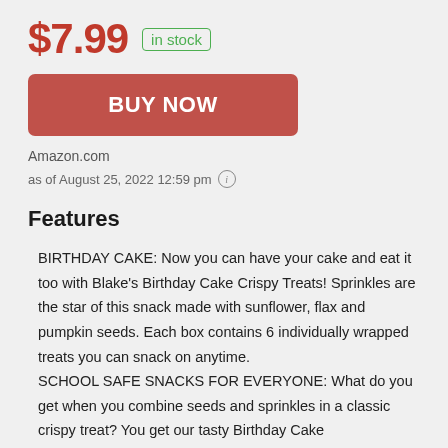$7.99  in stock
BUY NOW
Amazon.com
as of August 25, 2022 12:59 pm ℹ
Features
BIRTHDAY CAKE: Now you can have your cake and eat it too with Blake's Birthday Cake Crispy Treats! Sprinkles are the star of this snack made with sunflower, flax and pumpkin seeds. Each box contains 6 individually wrapped treats you can snack on anytime.
SCHOOL SAFE SNACKS FOR EVERYONE: What do you get when you combine seeds and sprinkles in a classic crispy treat? You get our tasty Birthday Cake